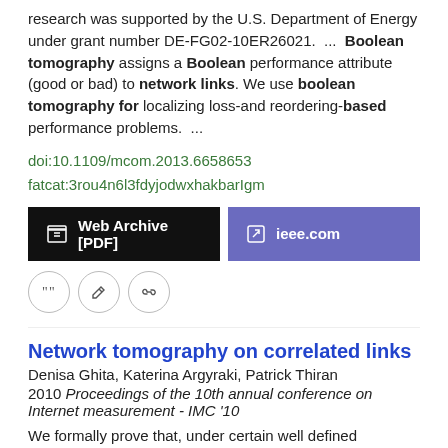research was supported by the U.S. Department of Energy under grant number DE-FG02-10ER26021.  ...  Boolean tomography assigns a Boolean performance attribute (good or bad) to network links. We use boolean tomography for localizing loss-and reordering-based performance problems.  ...
doi:10.1109/mcom.2013.6658653
fatcat:3rou4n6l3fdyjodwxhakbarIgm
[Figure (other): Two buttons: 'Web Archive [PDF]' (black background) and 'ieee.com' (purple background)]
[Figure (other): Three circular icon buttons: quote, edit, link]
Network tomography on correlated links
Denisa Ghita, Katerina Argyraki, Patrick Thiran
2010 Proceedings of the 10th annual conference on Internet measurement - IMC '10
We formally prove that, under certain well defined conditions, network tomography works when links are correlated, in particular, it is possible to identify the probability that each link is congested  ...  There are several practical scenarios in which this can happen; for instance, if we know the network topology at the IP-link or at the domain-link level, then links from the same local-area network